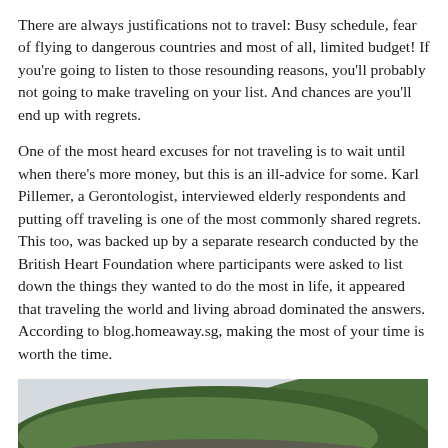There are always justifications not to travel: Busy schedule, fear of flying to dangerous countries and most of all, limited budget! If you're going to listen to those resounding reasons, you'll probably not going to make traveling on your list. And chances are you'll end up with regrets.
One of the most heard excuses for not traveling is to wait until when there's more money, but this is an ill-advice for some. Karl Pillemer, a Gerontologist, interviewed elderly respondents and putting off traveling is one of the most commonly shared regrets. This too, was backed up by a separate research conducted by the British Heart Foundation where participants were asked to list down the things they wanted to do the most in life, it appeared that traveling the world and living abroad dominated the answers. According to blog.homeaway.sg, making the most of your time is worth the time.
[Figure (photo): A woman with red hair blowing in the wind, viewed from behind, looking toward a green rocky island or cliff with water in the foreground and an overcast sky.]